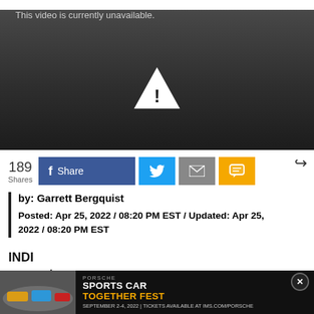[Figure (screenshot): Video player showing 'This video is currently unavailable.' with a warning triangle icon on a dark gradient background.]
189 Shares — Share (Facebook), Twitter, Email, SMS buttons. Share arrow icon.
by: Garrett Bergquist
Posted: Apr 25, 2022 / 08:20 PM EST / Updated: Apr 25, 2022 / 08:20 PM EST
INDI... runn... nty
[Figure (screenshot): Porsche Sports Car Together Fest advertisement banner. Text: PORSCHE SPORTS CAR TOGETHER FEST SEPTEMBER 2-4, 2022 | TICKETS AVAILABLE AT IMS.COM/PORSCHE. Close button (X) in top right.]